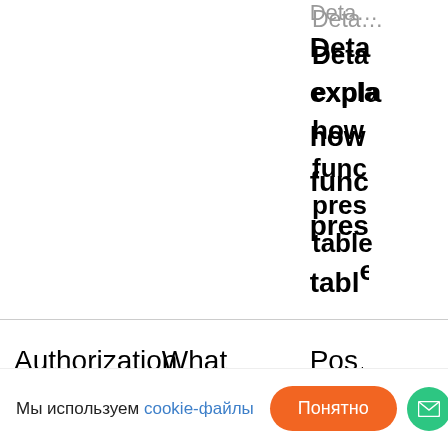| Authorization method | What kind of authorization | Pos... No |
| --- | --- | --- |
|  |  | Deta...
Details explain how func pres table |
Мы используем cookie-файлы  Понятно